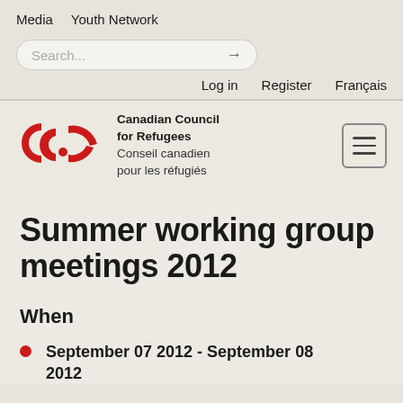Media   Youth Network
Search...  →
Log in   Register   Français
[Figure (logo): Canadian Council for Refugees (CCR) logo — red stylized CC with dot and arc shape, with bilingual text: Canadian Council for Refugees / Conseil canadien pour les réfugiés]
Summer working group meetings 2012
When
September 07 2012 - September 08 2012